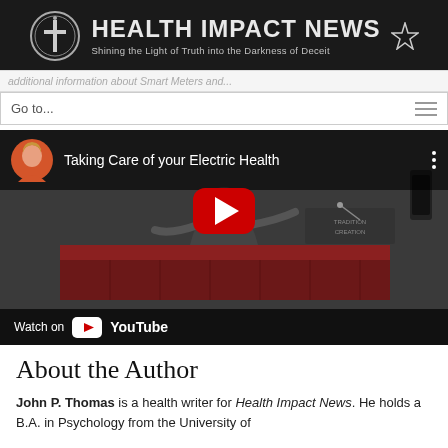[Figure (logo): Health Impact News logo banner with circular cross emblem, bold white text reading HEALTH IMPACT NEWS, subtitle Shining the Light of Truth into the Darkness of Deceit, and a star icon on dark background]
additional information about Smart Meters and...
Go to...
[Figure (screenshot): YouTube video thumbnail showing a woman speaking at a podium with title 'Taking Care of your Electric Health', with red play button and Watch on YouTube bar at bottom]
About the Author
John P. Thomas is a health writer for Health Impact News. He holds a B.A. in Psychology from the University of...